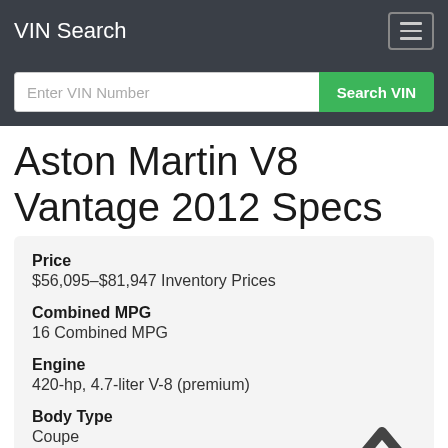VIN Search
Enter VIN Number
Aston Martin V8 Vantage 2012 Specs
Price
$56,095–$81,947 Inventory Prices
Combined MPG
16 Combined MPG
Engine
420-hp, 4.7-liter V-8 (premium)
Body Type
Coupe
Drivetrain